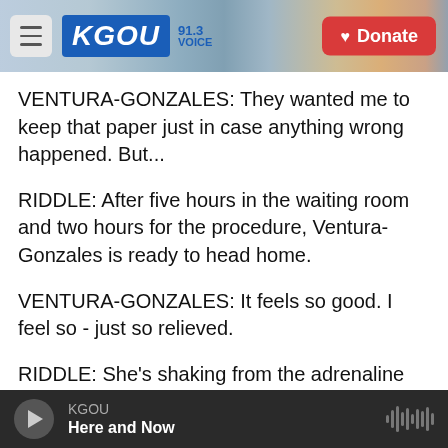[Figure (screenshot): KGOU radio station website header with logo, menu icon, cityscape background, and Donate button]
VENTURA-GONZALES: They wanted me to keep that paper just in case anything wrong happened. But...
RIDDLE: After five hours in the waiting room and two hours for the procedure, Ventura-Gonzales is ready to head home.
VENTURA-GONZALES: It feels so good. I feel so - just so relieved.
RIDDLE: She's shaking from the adrenaline and the fatigue of the long day. She takes a seat in the
KGOU  Here and Now